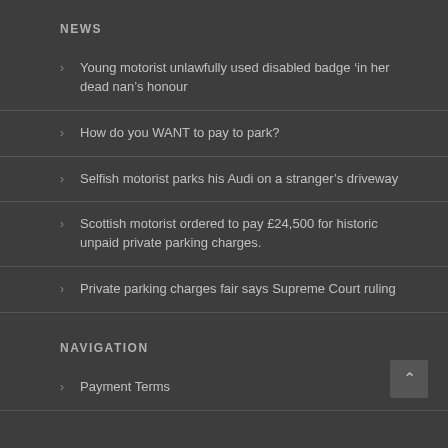NEWS
Young motorist unlawfully used disabled badge 'in her dead nan's honour
How do you WANT to pay to park?
Selfish motorist parks his Audi on a stranger's driveway
Scottish motorist ordered to pay £24,500 for historic unpaid private parking charges.
Private parking charges fair says Supreme Court ruling
NAVIGATION
Payment Terms